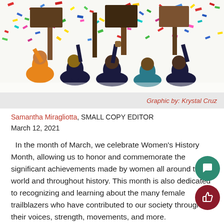[Figure (illustration): Illustration of silhouetted figures celebrating with colorful confetti falling, holding signs/flags, with orange, dark blue, and teal color palette. Festive celebration scene.]
Graphic by: Krystal Cruz
Samantha Miragliotta, SMALL COPY EDITOR
March 12, 2021
In the month of March, we celebrate Women's History Month, allowing us to honor and commemorate the significant achievements made by women all around the world and throughout history. This month is also dedicated to recognizing and learning about the many female trailblazers who have contributed to our society through their voices, strength, movements, and more.
Here at Pembroke Pines Charter high school, we have